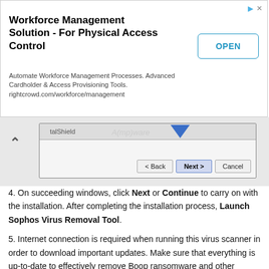[Figure (screenshot): Ad banner for Workforce Management Solution - For Physical Access Control with OPEN button]
[Figure (screenshot): InstallShield wizard dialog showing Back, Next, and Cancel buttons with a blue downward arrow indicator]
4. On succeeding windows, click Next or Continue to carry on with the installation. After completing the installation process, Launch Sophos Virus Removal Tool.
5. Internet connection is required when running this virus scanner in order to download important updates. Make sure that everything is up-to-date to effectively remove Boop ransomware and other relevant viruses.
6. Click the Start Scanning button to inspect the computer. This will check the system for presence of